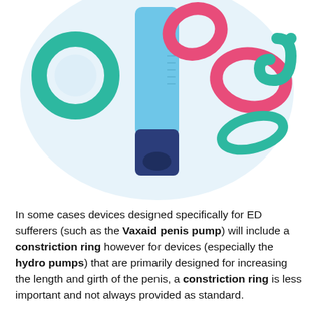[Figure (illustration): Colorful illustrated medical devices including penis pumps, cock rings, and constriction rings in teal, pink/red, and blue colors against a light blue circular background]
In some cases devices designed specifically for ED sufferers (such as the Vaxaid penis pump) will include a constriction ring however for devices (especially the hydro pumps) that are primarily designed for increasing the length and girth of the penis, a constriction ring is less important and not always provided as standard.
Obviously you can always opt to buy a constriction/cock ring separately.
Some Penis Pumps Require...